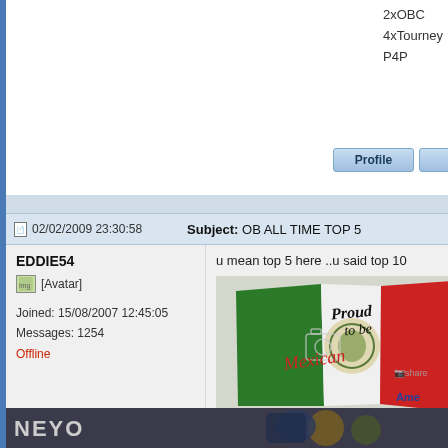2xOBC
4xTourney
P4P
[Figure (screenshot): Profile, P.M., Msn buttons in a forum interface]
02/02/2009 23:30:58
Subject: OB ALL TIME TOP 5
EDDIE54
[Figure (photo): Green avatar placeholder icon with [Avatar] label]
Joined: 15/08/2007 12:45:05
Messages: 1254
Offline
u mean top 5 here ..u said top 10
[Figure (photo): Proud to be Mexican flag image with Mexican eagle emblem]
[Figure (photo): NEYO dark sci-fi themed image]